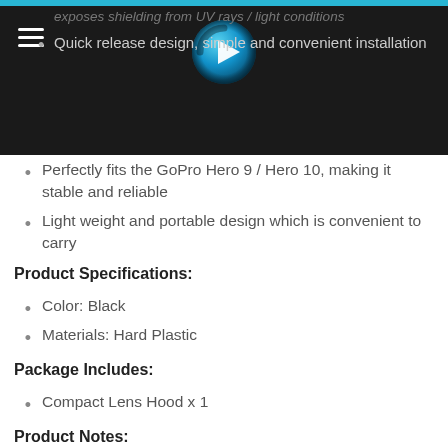Quick release design, simple and convenient installation
Perfectly fits the GoPro Hero 9 / Hero 10, making it stable and reliable
Light weight and portable design which is convenient to carry
Product Specifications:
Color: Black
Materials: Hard Plastic
Package Includes:
Compact Lens Hood x 1
Product Notes:
Camera NOT Included
Compatible with GoPro Hero 9 Black & Hero 10